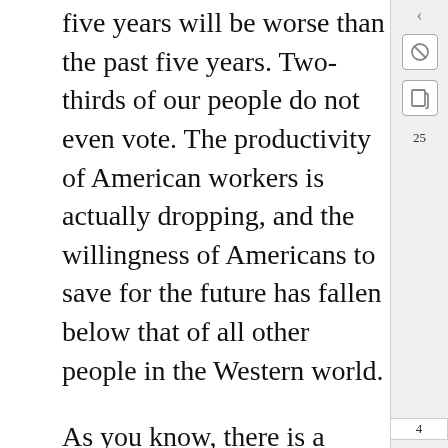five years will be worse than the past five years. Two-thirds of our people do not even vote. The productivity of American workers is actually dropping, and the willingness of Americans to save for the future has fallen below that of all other people in the Western world.
As you know, there is a growing disrespect for government and for churches and for schools, the news media, and other institutions. This is not a message of happiness or reassurance, but it is the truth and it is a warning.
These changes did not happen overnight. They've come upon us gradually over the last generation, years that were filled with shocks and tragedy.